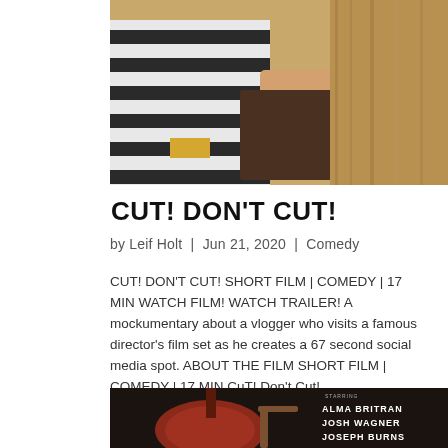[Figure (photo): Top portion of a person wearing a black and white striped shirt, sitting and holding a dark notebook or book, with a wooden background visible.]
CUT! DON'T CUT!
by Leif Holt  |  Jun 21, 2020  |  Comedy
CUT! DON'T CUT! SHORT FILM | COMEDY | 17 MIN WATCH FILM! WATCH TRAILER! A mockumentary about a vlogger who visits a famous director's film set as he creates a 67 second social media spot. ABOUT THE FILM SHORT FILM | COMEDY | 17 MIN CuT! Don't Cut!...
[Figure (photo): Bottom portion showing a cello or bass instrument leaning against a wooden chair, with black background and white text credits reading STARRING / ALMA BRITRAN / JOSH WAGNER / JOSEPH BURNS.]